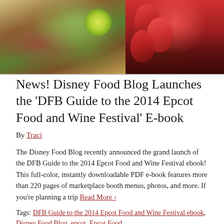[Figure (photo): Two food photos side by side: left shows a colorful salad with purple cabbage, herbs, and a lime wedge; right shows sliced strawberries on a dark chocolate surface.]
News! Disney Food Blog Launches the 'DFB Guide to the 2014 Epcot Food and Wine Festival' E-book
By Traci
The Disney Food Blog recently announced the grand launch of the DFB Guide to the 2014 Epcot Food and Wine Festival ebook! This full-color, instantly downloadable PDF e-book features more than 220 pages of marketplace booth menus, photos, and more. If you're planning a trip Read More ›
Tags: DFB Guide to the 2014 Epcot Food and Wine Festival ebook, Disney Food Blog, epcot, Epcot Food